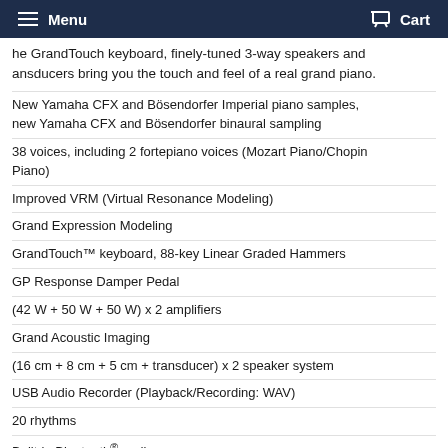Menu  Cart
he GrandTouch keyboard, finely-tuned 3-way speakers and ansducers bring you the touch and feel of a real grand piano.
New Yamaha CFX and Bösendorfer Imperial piano samples, new Yamaha CFX and Bösendorfer binaural sampling
38 voices, including 2 fortepiano voices (Mozart Piano/Chopin Piano)
Improved VRM (Virtual Resonance Modeling)
Grand Expression Modeling
GrandTouch™ keyboard, 88-key Linear Graded Hammers
GP Response Damper Pedal
(42 W + 50 W + 50 W) x 2 amplifiers
Grand Acoustic Imaging
(16 cm + 8 cm + 5 cm + transducer) x 2 speaker system
USB Audio Recorder (Playback/Recording: WAV)
20 rhythms
Built-in Bluetooth® audio